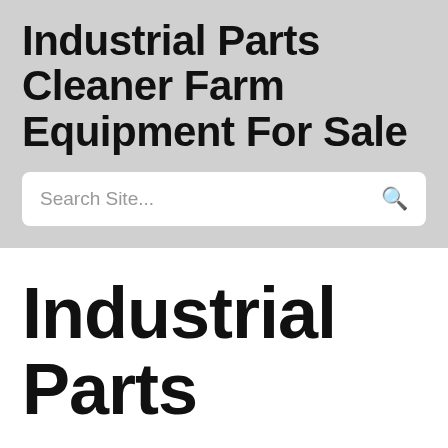Industrial Parts Cleaner Farm Equipment For Sale
Search Site...
Industrial Parts